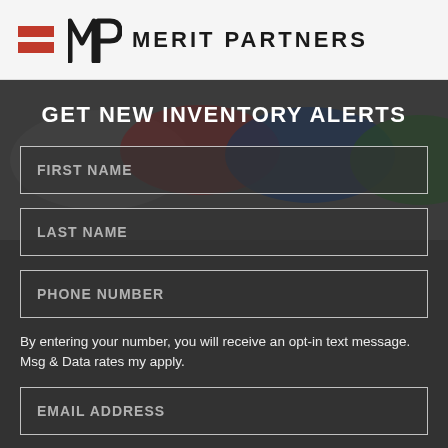[Figure (logo): Merit Partners logo with red hamburger icon, stylized MP monogram, and MERIT PARTNERS text]
GET NEW INVENTORY ALERTS
FIRST NAME
LAST NAME
PHONE NUMBER
By entering your number, you will receive an opt-in text message. Msg & Data rates my apply.
EMAIL ADDRESS